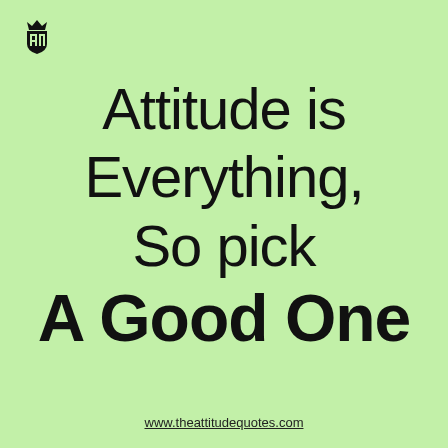[Figure (logo): Small crown and shield logo in top-left corner]
Attitude is Everything, So pick A Good One
www.theattitudequotes.com